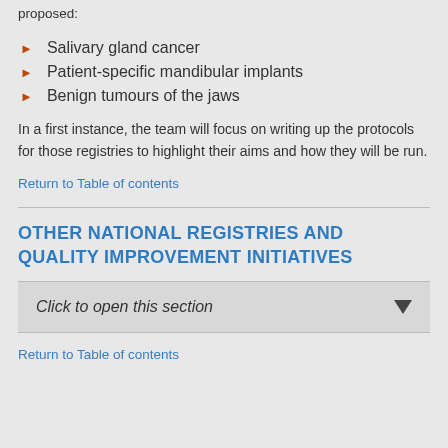proposed:
Salivary gland cancer
Patient-specific mandibular implants
Benign tumours of the jaws
In a first instance, the team will focus on writing up the protocols for those registries to highlight their aims and how they will be run.
Return to Table of contents
OTHER NATIONAL REGISTRIES AND QUALITY IMPROVEMENT INITIATIVES
Click to open this section
Return to Table of contents